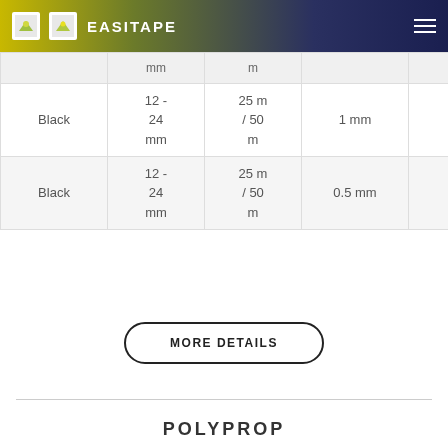EASITAPE
|  | mm | m |  | DC |
| --- | --- | --- | --- | --- |
| Black | 12 - 24 mm | 25 m / 50 m | 1 mm | DC |
| Black | 12 - 24 mm | 25 m / 50 m | 0.5 mm | DC |
MORE DETAILS
POLYPROP